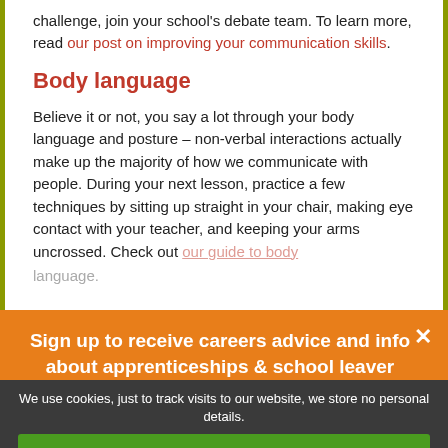challenge, join your school's debate team. To learn more, read our post on improving your communication skills.
Body language
Believe it or not, you say a lot through your body language and posture – non-verbal interactions actually make up the majority of how we communicate with people. During your next lesson, practice a few techniques by sitting up straight in your chair, making eye contact with your teacher, and keeping your arms uncrossed. Check out our guide to body language.
Sign up to receive careers advice and info about apprenticeships & school leaver jobs.
We use cookies, just to track visits to our website, we store no personal details.
ACCEPT COOKIES
What are cookies?